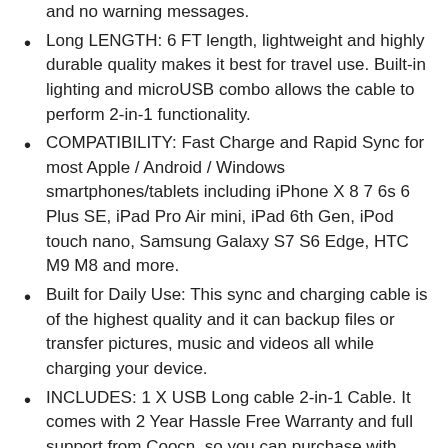and no warning messages.
Long LENGTH: 6 FT length, lightweight and highly durable quality makes it best for travel use. Built-in lighting and microUSB combo allows the cable to perform 2-in-1 functionality.
COMPATIBILITY: Fast Charge and Rapid Sync for most Apple / Android / Windows smartphones/tablets including iPhone X 8 7 6s 6 Plus SE, iPad Pro Air mini, iPad 6th Gen, iPod touch nano, Samsung Galaxy S7 S6 Edge, HTC M9 M8 and more.
Built for Daily Use: This sync and charging cable is of the highest quality and it can backup files or transfer pictures, music and videos all while charging your device.
INCLUDES: 1 X USB Long cable 2-in-1 Cable. It comes with 2 Year Hassle Free Warranty and full support from Coocn, so you can purchase with confidence.